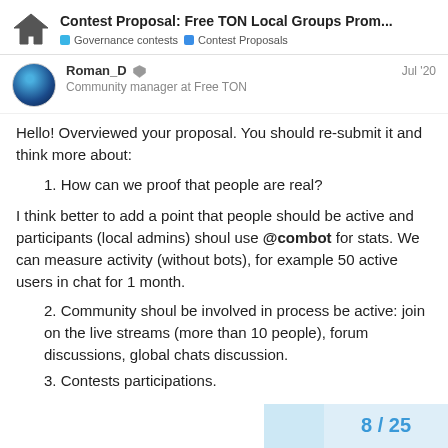Contest Proposal: Free TON Local Groups Prom... | Governance contests | Contest Proposals
Roman_D | Community manager at Free TON | Jul '20
Hello! Overviewed your proposal. You should re-submit it and think more about:
1. How can we proof that people are real?
I think better to add a point that people should be active and participants (local admins) shoul use @combot for stats. We can measure activity (without bots), for example 50 active users in chat for 1 month.
2. Community shoul be involved in process be active: join on the live streams (more than 10 people), forum discussions, global chats discussion.
3. Contests participations.
8 / 25